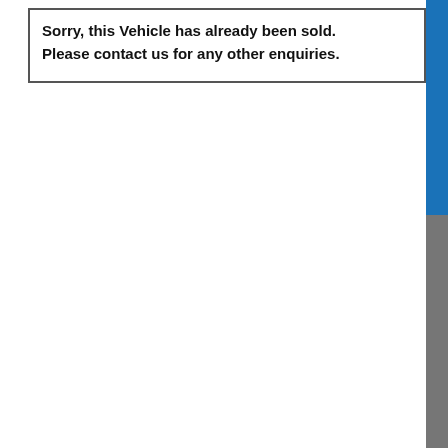Sorry, this Vehicle has already been sold. Please contact us for any other enquiries.